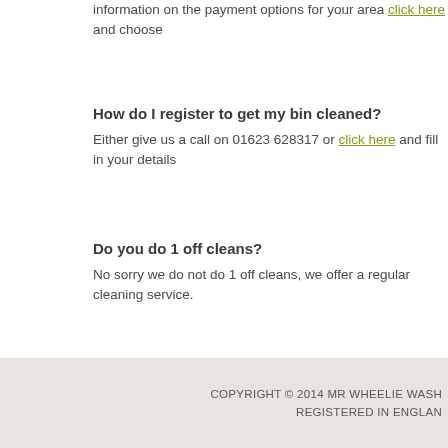information on the payment options for your area click here and choose
How do I register to get my bin cleaned?
Either give us a call on 01623 628317 or click here and fill in your details
Do you do 1 off cleans?
No sorry we do not do 1 off cleans, we offer a regular cleaning service.
COPYRIGHT © 2014 MR WHEELIE WASH REGISTERED IN ENGLAN